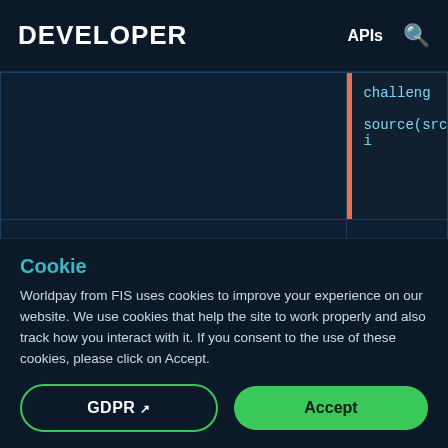DEVELOPER   APIs
| Parameter | Description |
| --- | --- |
|  | challeng
source(src) i |
| challenge.jwt | A digitally sign contains addit as the URL to |
Cookie
Worldpay from FIS uses cookies to improve your experience on our website. We use cookies that help the site to work properly and also track how you interact with it. If you consent to the use of these cookies, please click on Accept.
GDPR
Accept